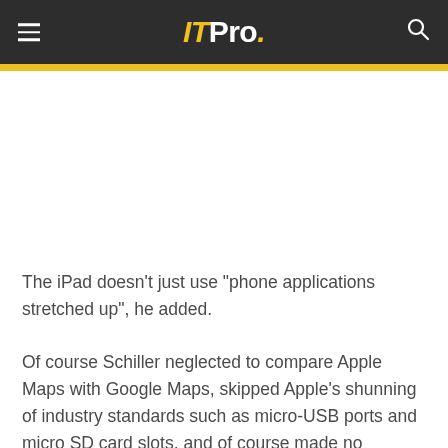ITPro.
The iPad doesn't just use "phone applications stretched up", he added.
Of course Schiller neglected to compare Apple Maps with Google Maps, skipped Apple's shunning of industry standards such as micro-USB ports and micro SD card slots, and of course made no mention